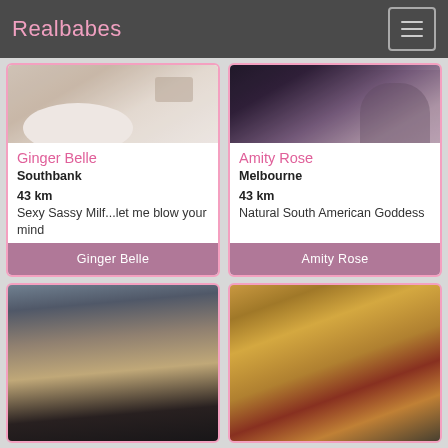Realbabes
Ginger Belle
Southbank
43 km
Sexy Sassy Milf...let me blow your mind
Ginger Belle
Amity Rose
Melbourne
43 km
Natural South American Goddess
Amity Rose
[Figure (photo): Partial photo of a person lying on white bedding]
[Figure (photo): Partial photo of a person in dark/purple clothing]